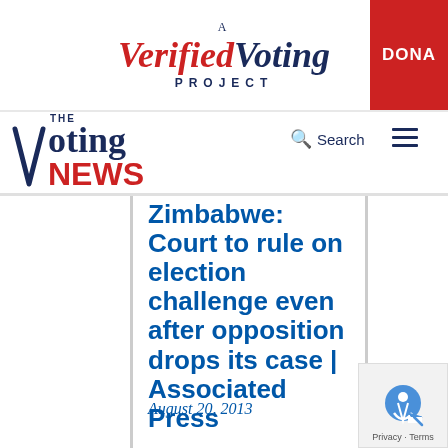[Figure (logo): A Verified Voting Project logo with red 'Verified' italic text and dark blue 'Voting' italic text, plus DONATE button in red on the right]
[Figure (logo): The Voting News logo with dark blue 'Voting' serif text and red bold 'NEWS' text]
Search
Zimbabwe: Court to rule on election challenge even after opposition drops its case | Associated Press
August 20, 2013
Privacy · Terms